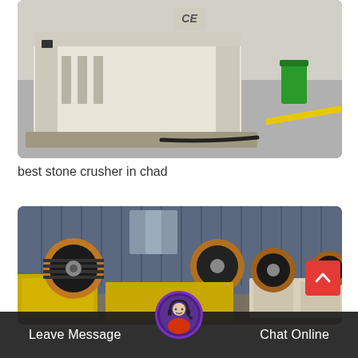[Figure (photo): Industrial stone crusher machine, white/beige colored, sitting on a factory floor with a green trash bin and other equipment visible in the background.]
best stone crusher in chad
[Figure (photo): Multiple jaw crusher machines with yellow frames and large black belt drive pulleys/flywheels arranged in a row inside a factory with corrugated blue metal walls.]
Leave Message
Chat Online